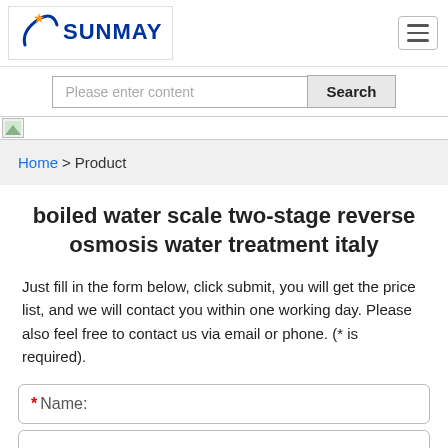[Figure (logo): Sunmay logo with orange star and blue circular arc, bold blue SUNMAY text]
[Figure (other): Hamburger menu icon button, three horizontal lines]
Please enter content
Search
[Figure (photo): Small banner image placeholder]
Home > Product
boiled water scale two-stage reverse osmosis water treatment italy
Just fill in the form below, click submit, you will get the price list, and we will contact you within one working day. Please also feel free to contact us via email or phone. (* is required).
* Name: